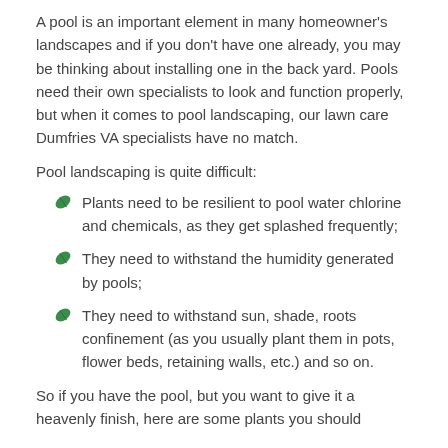A pool is an important element in many homeowner's landscapes and if you don't have one already, you may be thinking about installing one in the back yard. Pools need their own specialists to look and function properly, but when it comes to pool landscaping, our lawn care Dumfries VA specialists have no match.
Pool landscaping is quite difficult:
Plants need to be resilient to pool water chlorine and chemicals, as they get splashed frequently;
They need to withstand the humidity generated by pools;
They need to withstand sun, shade, roots confinement (as you usually plant them in pots, flower beds, retaining walls, etc.) and so on.
So if you have the pool, but you want to give it a heavenly finish, here are some plants you should